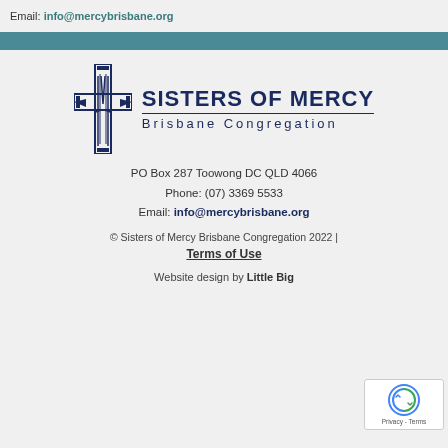Email: info@mercybrisbane.org
[Figure (logo): Sisters of Mercy Brisbane Congregation logo with a stylized cross and the text SISTERS OF MERCY Brisbane Congregation]
PO Box 287 Toowong DC QLD 4066
Phone: (07) 3369 5533
Email: info@mercybrisbane.org
© Sisters of Mercy Brisbane Congregation 2022 | Terms of Use
Website design by Little Big